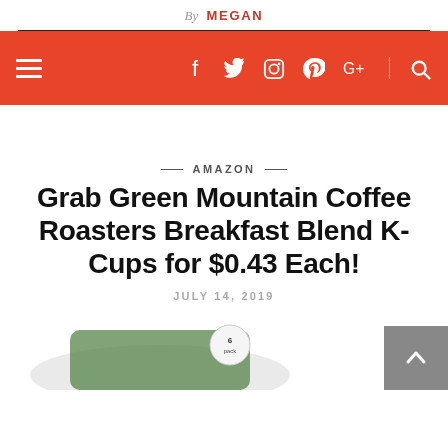By MEGAN
Navigation bar with hamburger menu, social icons (f, twitter, instagram, pinterest, google+, search), red background
— AMAZON —
Grab Green Mountain Coffee Roasters Breakfast Blend K-Cups for $0.43 Each!
JULY 14, 2019
[Figure (photo): Green Mountain Coffee Roasters Breakfast Blend K-Cups product packaging, 6-pack label visible]